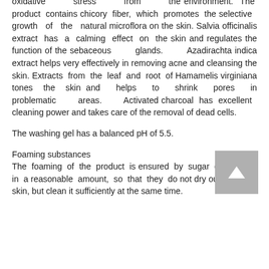oxidative stress from the environment. The product contains chicory fiber, which promotes the selective growth of the natural microflora on the skin. Salvia officinalis extract has a calming effect on the skin and regulates the function of the sebaceous glands. Azadirachta indica extract helps very effectively in removing acne and cleansing the skin. Extracts from the leaf and root of Hamamelis virginiana tones the skin and helps to shrink pores in problematic areas. Activated charcoal has excellent cleaning power and takes care of the removal of dead cells.
The washing gel has a balanced pH of 5.5.
Foaming substances
The foaming of the product is ensured by sugar glucosides in a reasonable amount, so that they do not dry out the facial skin, but clean it sufficiently at the same time.